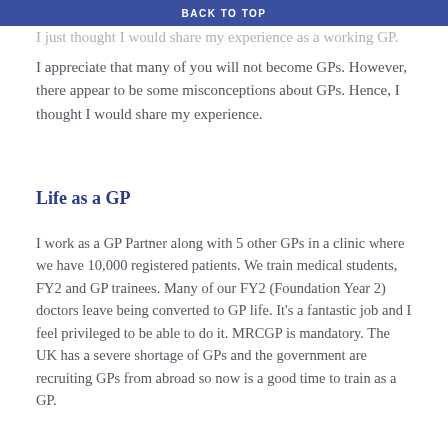BACK TO TOP
I just thought I would share my experience as a working GP.
I appreciate that many of you will not become GPs. However, there appear to be some misconceptions about GPs. Hence, I thought I would share my experience.
Life as a GP
I work as a GP Partner along with 5 other GPs in a clinic where we have 10,000 registered patients. We train medical students, FY2 and GP trainees. Many of our FY2 (Foundation Year 2) doctors leave being converted to GP life. It's a fantastic job and I feel privileged to be able to do it. MRCGP is mandatory. The UK has a severe shortage of GPs and the government are recruiting GPs from abroad so now is a good time to train as a GP.